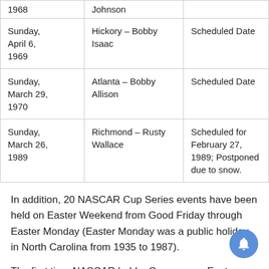| Date | Location – Winner | Notes |
| --- | --- | --- |
| 1968 | Johnson |  |
| Sunday, April 6, 1969 | Hickory – Bobby Isaac | Scheduled Date |
| Sunday, March 29, 1970 | Atlanta – Bobby Allison | Scheduled Date |
| Sunday, March 26, 1989 | Richmond – Rusty Wallace | Scheduled for February 27, 1989; Postponed due to snow. |
In addition, 20 NASCAR Cup Series events have been held on Easter Weekend from Good Friday through Easter Monday (Easter Monday was a public holiday in North Carolina from 1935 to 1987).
The first time NASCAR held a Cup race on Easter Weekend...